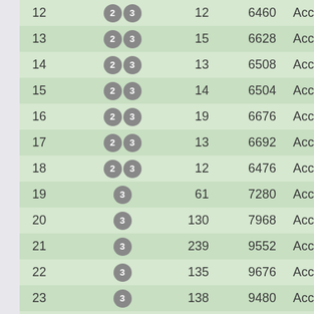| # | Tags | Count | Score | Status | Pct |
| --- | --- | --- | --- | --- | --- |
| 12 | 2 3 | 12 | 6460 | Accepted | 10 |
| 13 | 2 3 | 15 | 6628 | Accepted | 10 |
| 14 | 2 3 | 13 | 6508 | Accepted | 10 |
| 15 | 2 3 | 14 | 6504 | Accepted | 10 |
| 16 | 2 3 | 19 | 6676 | Accepted | 10 |
| 17 | 2 3 | 13 | 6692 | Accepted | 10 |
| 18 | 2 3 | 12 | 6476 | Accepted | 10 |
| 19 | 3 | 61 | 7280 | Accepted | 10 |
| 20 | 3 | 130 | 7968 | Accepted | 10 |
| 21 | 3 | 239 | 9552 | Accepted | 10 |
| 22 | 3 | 135 | 9676 | Accepted | 10 |
| 23 | 3 | 138 | 9480 | Accepted | 10 |
| 24 | 3 | 586 | 14316 | Accepted | 10 |